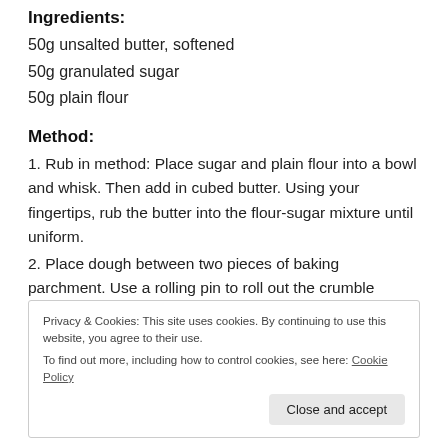Ingredients:
50g unsalted butter, softened
50g granulated sugar
50g plain flour
Method:
1. Rub in method: Place sugar and plain flour into a bowl and whisk. Then add in cubed butter. Using your fingertips, rub the butter into the flour-sugar mixture until uniform.
2. Place dough between two pieces of baking parchment. Use a rolling pin to roll out the crumble dough to about 5mm thick. Place onto a tray and place it into the freezer to firm up while you
Privacy & Cookies: This site uses cookies. By continuing to use this website, you agree to their use. To find out more, including how to control cookies, see here: Cookie Policy
Close and accept